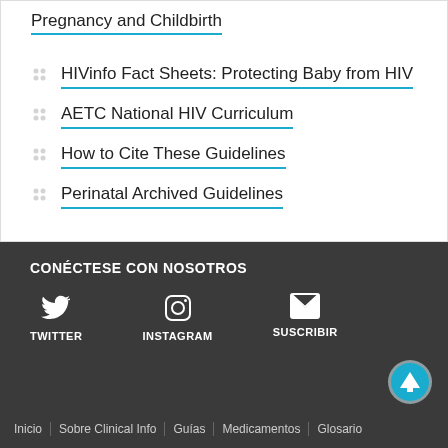Pregnancy and Childbirth
HIVinfo Fact Sheets: Protecting Baby from HIV
AETC National HIV Curriculum
How to Cite These Guidelines
Perinatal Archived Guidelines
CONÉCTESE CON NOSOTROS
TWITTER  INSTAGRAM  SUSCRIBIR
Inicio | Sobre Clinical Info | Guías | Medicamentos | Glosario